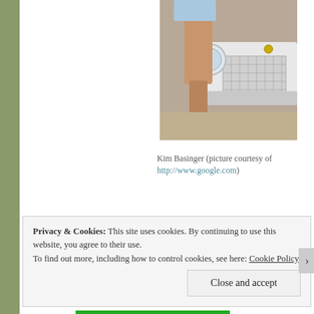[Figure (photo): A cropped photo of Kim Basinger posing next to a classic car, showing her legs and high heels with the car grille and headlight visible.]
Kim Basinger (picture courtesy of http://www.google.com)
Privacy & Cookies: This site uses cookies. By continuing to use this website, you agree to their use.
To find out more, including how to control cookies, see here: Cookie Policy